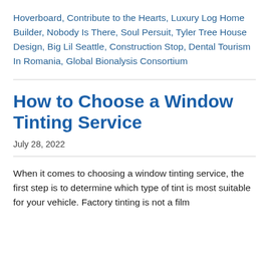Hoverboard, Contribute to the Hearts, Luxury Log Home Builder, Nobody Is There, Soul Persuit, Tyler Tree House Design, Big Lil Seattle, Construction Stop, Dental Tourism In Romania, Global Bionalysis Consortium
How to Choose a Window Tinting Service
July 28, 2022
When it comes to choosing a window tinting service, the first step is to determine which type of tint is most suitable for your vehicle. Factory tinting is not a film